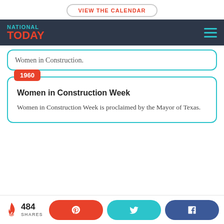VIEW THE CALENDAR
NATIONAL TODAY
Women in Construction.
1960
Women in Construction Week
Women in Construction Week is proclaimed by the Mayor of Texas.
484 SHARES